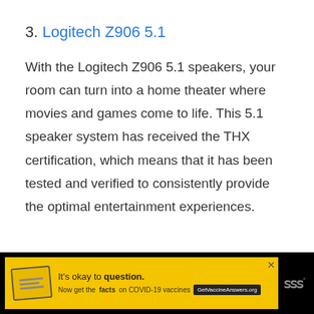3. Logitech Z906 5.1
With the Logitech Z906 5.1 speakers, your room can turn into a home theater where movies and games come to life. This 5.1 speaker system has received the THX certification, which means that it has been tested and verified to consistently provide the optimal entertainment experiences.
[Figure (other): Advertisement banner: Yellow background with 'It's okay to question.' text and COVID-19 vaccine information. GetVaccineAnswers.org call to action button. Black background with close button.]